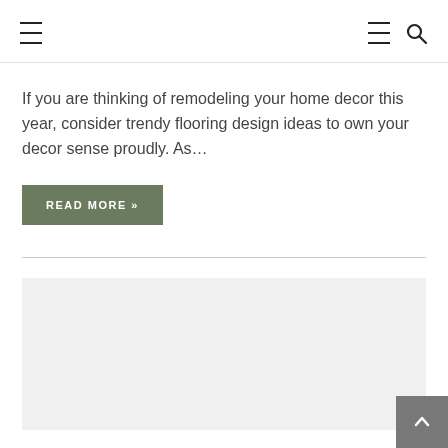[hamburger menu] [hamburger menu] [search icon]
If you are thinking of remodeling your home decor this year, consider trendy flooring design ideas to own your decor sense proudly. As…
READ MORE »
[Figure (other): Light gray image placeholder rectangle below a horizontal divider]
[Figure (other): Back to top button with upward chevron arrow in bottom right corner]